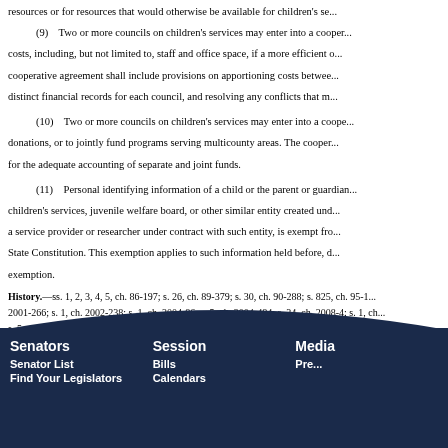resources or for resources that would otherwise be available for children's se...
(9) Two or more councils on children's services may enter into a cooperative agreement to share costs, including, but not limited to, staff and office space, if a more efficient operation results. The cooperative agreement shall include provisions on apportioning costs between the councils, maintaining distinct financial records for each council, and resolving any conflicts that m...
(10) Two or more councils on children's services may enter into a cooperative agreement to accept donations, or to jointly fund programs serving multicounty areas. The cooperative agreement shall provide for the adequate accounting of separate and joint funds.
(11) Personal identifying information of a child or the parent or guardian of a child held by a children's services, juvenile welfare board, or other similar entity created under this part, or by a service provider or researcher under contract with such entity, is exempt from... State Constitution. This exemption applies to such information held before, during, and after the exemption.
History.—ss. 1, 2, 3, 4, 5, ch. 86-197; s. 26, ch. 89-379; s. 30, ch. 90-288; s. 825, ch. 95-1...; 2001-266; s. 1, ch. 2002-238; s. 1, ch. 2004-86; s. 5, ch. 2004-484; s. 24, ch. 2008-4; s. 1, ch...; s. 5, ch. 2014-22; s. 3, ch. 2015-79; s. 68, ch. 2017-116; s. 25, ch. 2017-151.
Senators | Senator List | Find Your Legislators | Session | Bills | Calendars | Media | Pre...